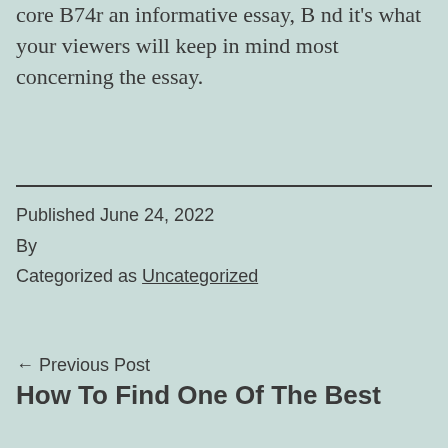core B74r an informative essay, B nd it's what your viewers will keep in mind most concerning the essay.
Published June 24, 2022
By
Categorized as Uncategorized
← Previous Post
How To Find One Of The Best